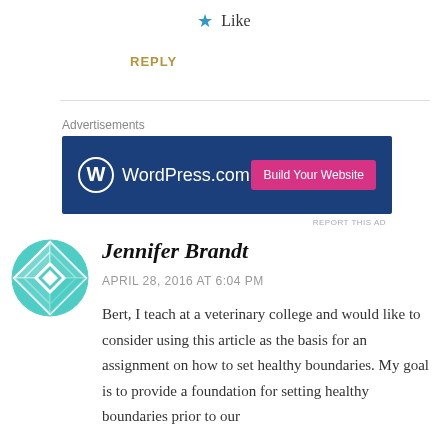★ Like
REPLY
[Figure (other): WordPress.com advertisement banner with logo and 'Build Your Website' button]
REPORT THIS AD
Jennifer Brandt
APRIL 28, 2016 AT 6:04 PM
Bert, I teach at a veterinary college and would like to consider using this article as the basis for an assignment on how to set healthy boundaries. My goal is to provide a foundation for setting healthy boundaries prior to our